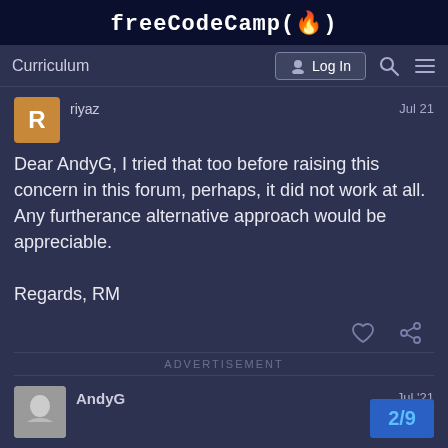freeCodeCamp(🔥)
Curriculum
Log In
riyaz   Jul 21
Dear AndyG, I tried that too before raising this concern in this forum, perhaps, it did not work at all.
Any furtherance alternative approach would be appreciable.

Regards, RM
ADVERTISEMENT
AndyG   Jul '21
2/9